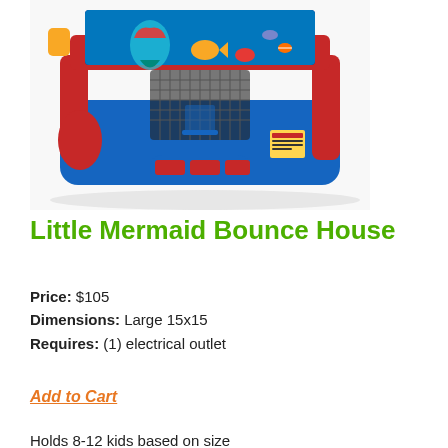[Figure (photo): Little Mermaid themed inflatable bounce house with red, yellow, and blue colors, featuring Ariel and undersea characters on a banner at the top.]
Little Mermaid Bounce House
Price: $105
Dimensions: Large 15x15
Requires: (1) electrical outlet
Add to Cart
Holds 8-12 kids based on size